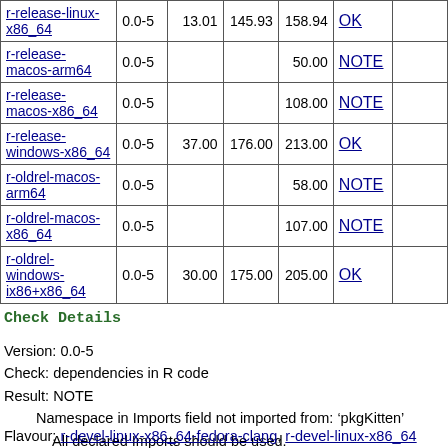|  |  |  |  |  |  |  |
| --- | --- | --- | --- | --- | --- | --- |
| r-release-linux-x86_64 | 0.0-5 | 13.01 | 145.93 | 158.94 | OK |  |
| r-release-macos-arm64 | 0.0-5 |  |  | 50.00 | NOTE |  |
| r-release-macos-x86_64 | 0.0-5 |  |  | 108.00 | NOTE |  |
| r-release-windows-x86_64 | 0.0-5 | 37.00 | 176.00 | 213.00 | OK |  |
| r-oldrel-macos-arm64 | 0.0-5 |  |  | 58.00 | NOTE |  |
| r-oldrel-macos-x86_64 | 0.0-5 |  |  | 107.00 | NOTE |  |
| r-oldrel-windows-ix86+x86_64 | 0.0-5 | 30.00 | 175.00 | 205.00 | OK |  |
Check Details
Version: 0.0-5
Check: dependencies in R code
Result: NOTE
    Namespace in Imports field not imported from: ‘pkgKitten’
    All declared Imports should be used.
Flavour: r-devel-linux-x86_64-fedora-clang, r-devel-linux-x86_64